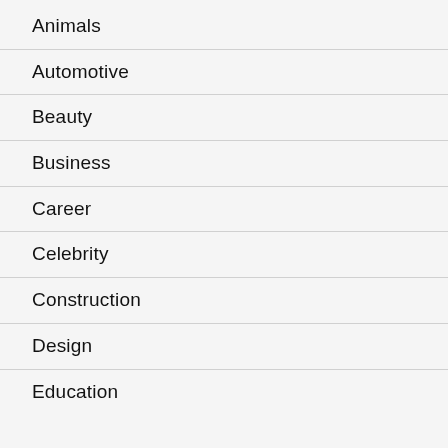Animals
Automotive
Beauty
Business
Career
Celebrity
Construction
Design
Education